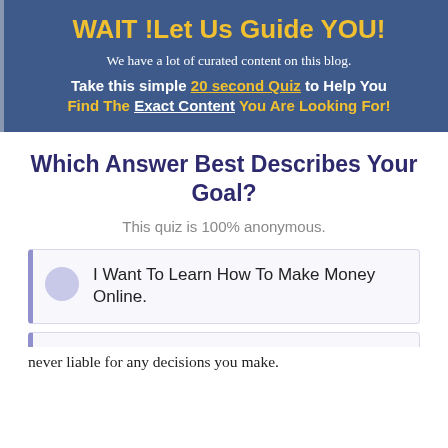WAIT !Let Us Guide YOU!
We have a lot of curated content on this blog.
Take this simple 20 second Quiz to Help You
Find The Exact Content You Are Looking For!
Which Answer Best Describes Your Goal?
This quiz is 100% anonymous.
I Want To Learn How To Make Money Online.
never liable for any decisions you make.